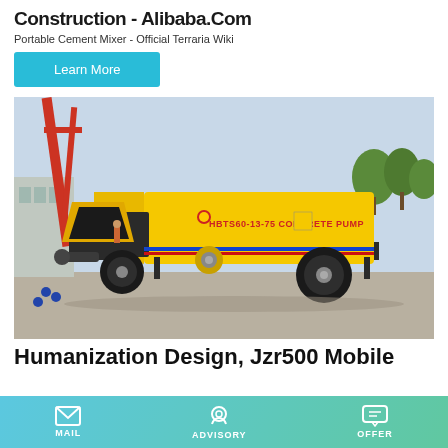Construction - Alibaba.Com
Portable Cement Mixer - Official Terraria Wiki
Learn More
[Figure (photo): Yellow HBTS60-13-75 concrete pump on a trailer with large wheels, parked at a construction site with a red crane and trees in the background.]
Humanization Design, Jzr500 Mobile
MAIL   ADVISORY   OFFER